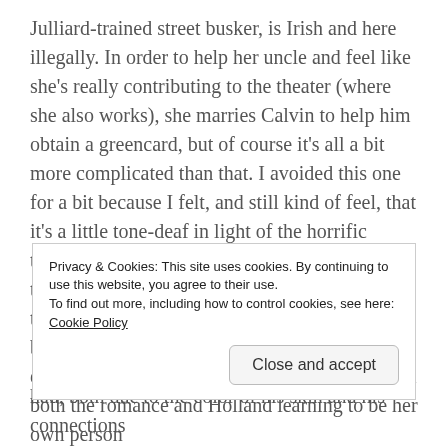Julliard-trained street busker, is Irish and here illegally. In order to help her uncle and feel like she's really contributing to the theater (where she also works), she marries Calvin to help him obtain a greencard, but of course it's all a bit more complicated than that. I avoided this one for a bit because I felt, and still kind of feel, that it's a little tone-deaf in light of the horrific things the US is doing to undocumented people these days, and the book never mentions any of that (mostly because, I assume, it was written before all this came to light?). The book itself is extremely well-written and I very much enjoyed both the romance and Holland learning to be her own person
Privacy & Cookies: This site uses cookies. By continuing to use this website, you agree to their use.
To find out more, including how to control cookies, see here: Cookie Policy
Close and accept
had, both due to the color of his skin and his connections